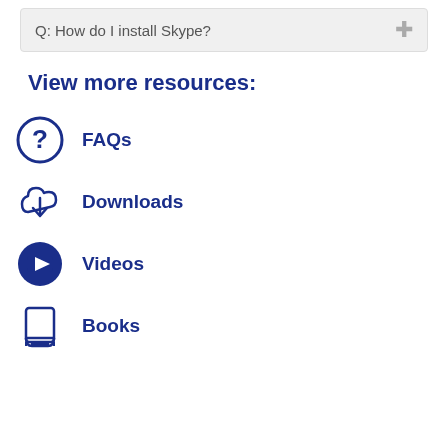Q: How do I install Skype?
View more resources:
FAQs
Downloads
Videos
Books